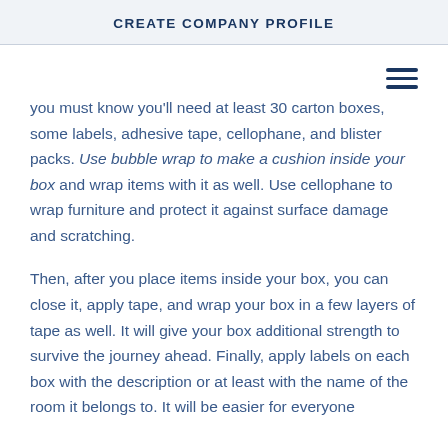CREATE COMPANY PROFILE
you must know you'll need at least 30 carton boxes, some labels, adhesive tape, cellophane, and blister packs. Use bubble wrap to make a cushion inside your box and wrap items with it as well. Use cellophane to wrap furniture and protect it against surface damage and scratching.
Then, after you place items inside your box, you can close it, apply tape, and wrap your box in a few layers of tape as well. It will give your box additional strength to survive the journey ahead. Finally, apply labels on each box with the description or at least with the name of the room it belongs to. It will be easier for everyone